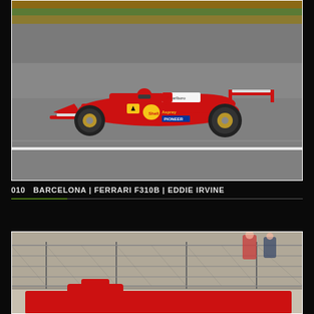[Figure (photo): Red Ferrari F310B Formula 1 car driven by Eddie Irvine, photographed from the side on track at Barcelona. The car features Marlboro, Shell, Asprey, and Pioneer sponsorship logos. Background shows a grey racetrack surface and green grass/brown dirt area at the top.]
010   BARCELONA | FERRARI F310B | EDDIE IRVINE
[Figure (photo): Partial view of a red Ferrari Formula 1 car at Barcelona circuit, photographed near a concrete wall and chain-link fence. Spectators visible in background.]